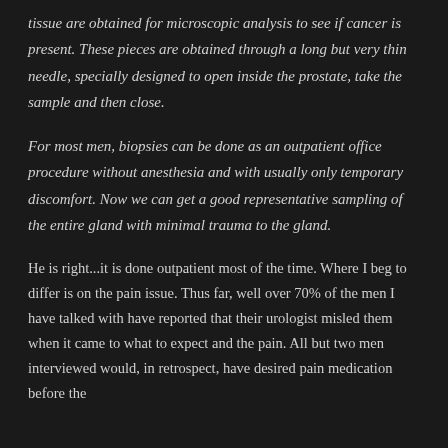tissue are obtained for microscopic analysis to see if cancer is present. These pieces are obtained through a long but very thin needle, specially designed to open inside the prostate, take the sample and then close.
For most men, biopsies can be done as an outpatient office procedure without anesthesia and with usually only temporary discomfort. Now we can get a good representative sampling of the entire gland with minimal trauma to the gland.
He is right...it is done outpatient most of the time. Where I beg to differ is on the pain issue. Thus far, well over 70% of the men I have talked with have reported that their urologist misled them when it came to what to expect and the pain. All but two men interviewed would, in retrospect, have desired pain medication before the